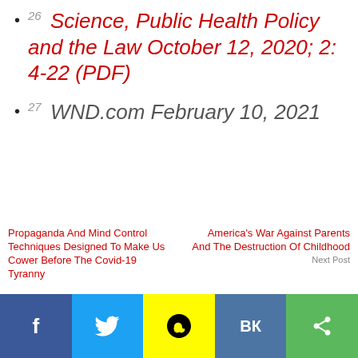26 Science, Public Health Policy and the Law October 12, 2020; 2: 4-22 (PDF)
27 WND.com February 10, 2021
Propaganda And Mind Control Techniques Designed To Make Us Cower Before The Covid-19 Tyranny
America's War Against Parents And The Destruction Of Childhood